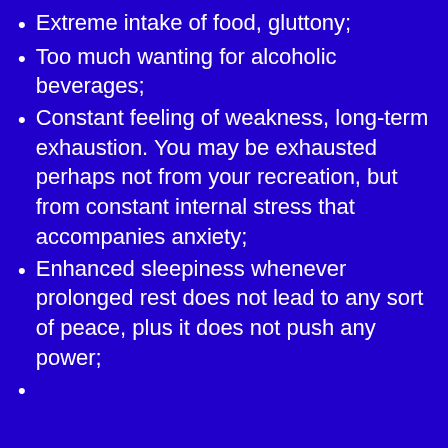Extreme intake of food, gluttony;
Too much wanting for alcoholic beverages;
Constant feeling of weakness, long-term exhaustion. You may be exhausted perhaps not from your recreation, but from constant internal stress that accompanies anxiety;
Enhanced sleepiness whenever prolonged rest does not lead to any sort of peace, plus it does not push any power;
(continues below)